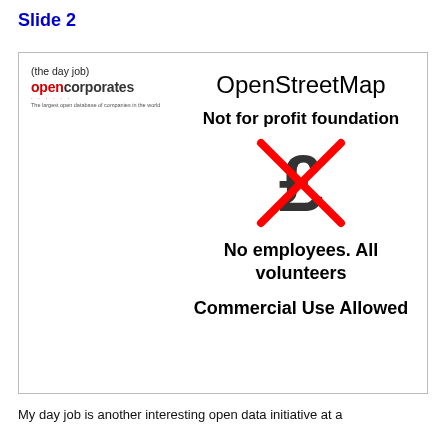Slide 2
[Figure (infographic): Slide showing OpenCorporates logo on left labeled '(the day job)', and on the right: 'OpenStreetMap', 'Not for profit foundation', a pound sign with a red X through it, 'No employees. All volunteers', 'Commercial Use Allowed']
My day job is another interesting open data initiative at a